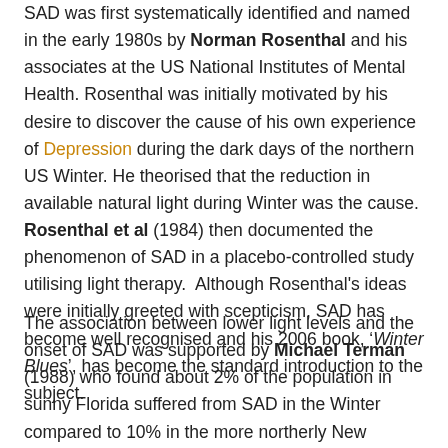SAD was first systematically identified and named in the early 1980s by Norman Rosenthal and his associates at the US National Institutes of Mental Health. Rosenthal was initially motivated by his desire to discover the cause of his own experience of Depression during the dark days of the northern US Winter. He theorised that the reduction in available natural light during Winter was the cause. Rosenthal et al (1984) then documented the phenomenon of SAD in a placebo-controlled study utilising light therapy.  Although Rosenthal's ideas were initially greeted with scepticism, SAD has become well recognised and his 2006 book, 'Winter Blues', has become the standard introduction to the subject.
The association between lower light levels and the onset of SAD was supported by Michael Terman (1988) who found about 2% of the population in sunny Florida suffered from SAD in the Winter compared to 10% in the more northerly New Hampshire. Similar findings have been reported since – eg: Susan Nolen-